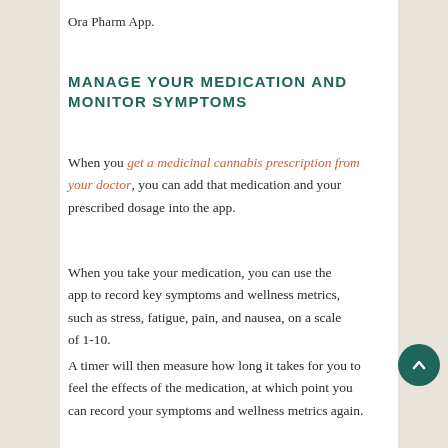Ora Pharm App.
MANAGE YOUR MEDICATION AND MONITOR SYMPTOMS
When you get a medicinal cannabis prescription from your doctor, you can add that medication and your prescribed dosage into the app.
When you take your medication, you can use the app to record key symptoms and wellness metrics, such as stress, fatigue, pain, and nausea, on a scale of 1-10.
A timer will then measure how long it takes for you to feel the effects of the medication, at which point you can record your symptoms and wellness metrics again.